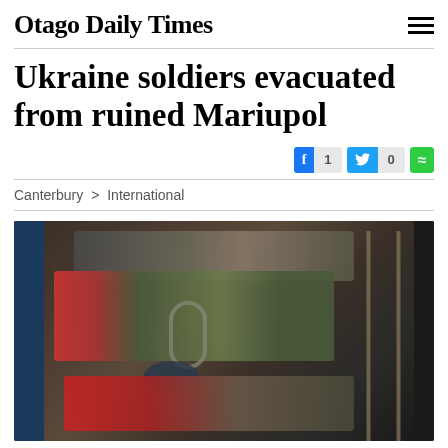Otago Daily Times
Ukraine soldiers evacuated from ruined Mariupol
Canterbury > International
[Figure (photo): A wounded Ukrainian soldier lying on a stretcher inside a military vehicle, viewed through a window. A medic or another person in red high-visibility gear is visible. The interior is dimly lit.]